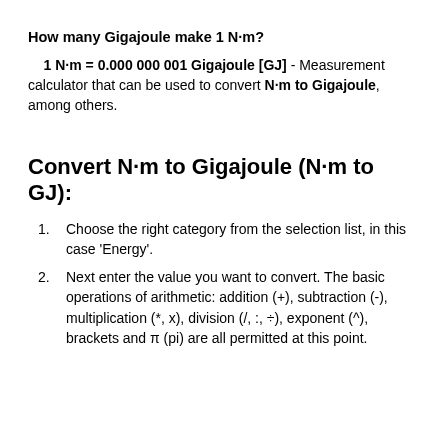How many Gigajoule make 1 N·m?
1 N·m = 0.000 000 001 Gigajoule [GJ] - Measurement calculator that can be used to convert N·m to Gigajoule, among others.
Convert N·m to Gigajoule (N·m to GJ):
Choose the right category from the selection list, in this case 'Energy'.
Next enter the value you want to convert. The basic operations of arithmetic: addition (+), subtraction (-), multiplication (*, x), division (/, :, ÷), exponent (^), brackets and π (pi) are all permitted at this point.